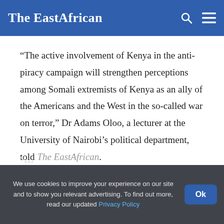The EastAfrican
“The active involvement of Kenya in the anti-piracy campaign will strengthen perceptions among Somali extremists of Kenya as an ally of the Americans and the West in the so-called war on terror,” Dr Adams Oloo, a lecturer at the University of Nairobi’s political department, told The EastAfrican.
We use cookies to improve your experience on our site and to show you relevant advertising. To find out more, read our updated Privacy Policy